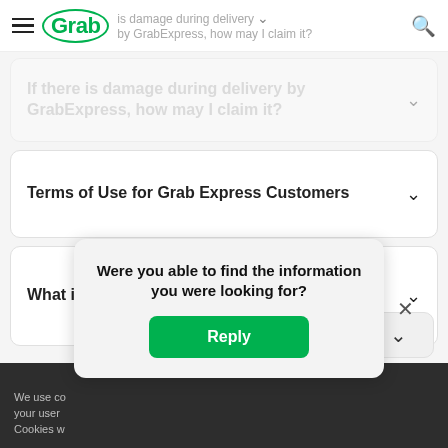Grab — If there is damage during delivery by GrabExpress, how may I claim it?
If there is damage during delivery by GrabExpress, how may I claim it?
Terms of Use for Grab Express Customers
What is door-to-door by driver service?
We use co... your user... Cookies w...
Were you able to find the information you were looking for?
Reply